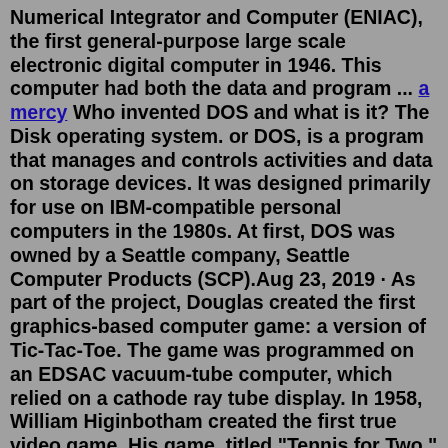Numerical Integrator and Computer (ENIAC), the first general-purpose large scale electronic digital computer in 1946. This computer had both the data and program ... a mercy Who invented DOS and what is it? The Disk operating system. or DOS, is a program that manages and controls activities and data on storage devices. It was designed primarily for use on IBM-compatible personal computers in the 1980s. At first, DOS was owned by a Seattle company, Seattle Computer Products (SCP).Aug 23, 2019 · As part of the project, Douglas created the first graphics-based computer game: a version of Tic-Tac-Toe. The game was programmed on an EDSAC vacuum-tube computer, which relied on a cathode ray tube display. In 1958, William Higinbotham created the first true video game. His game, titled "Tennis for Two," was devised and played on a Brookhaven ... When was the first computer invented? The concept of a digital programmable computer was originated by Charles Babbage an English mechanical engineer and mathematician. Babbage designed the Diff...